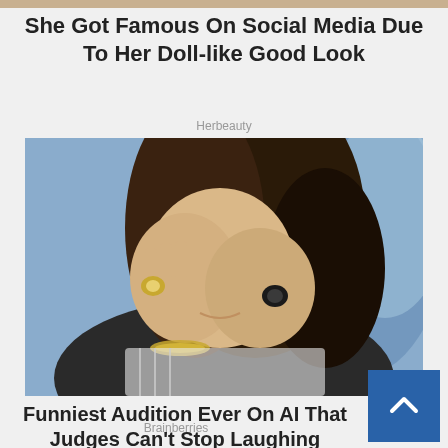She Got Famous On Social Media Due To Her Doll-like Good Look
Herbeauty
[Figure (photo): Woman with long brown hair covering her face with both hands, wearing rings and a bracelet, smiling/laughing, seated in front of a blue painted background]
Funniest Audition Ever On AI That Judges Can't Stop Laughing
Brainberries